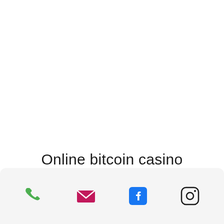Online bitcoin casino
[Figure (infographic): Footer bar with four social/contact icons: phone (green), email/envelope (pink/magenta), Facebook (blue), Instagram (black outline)]